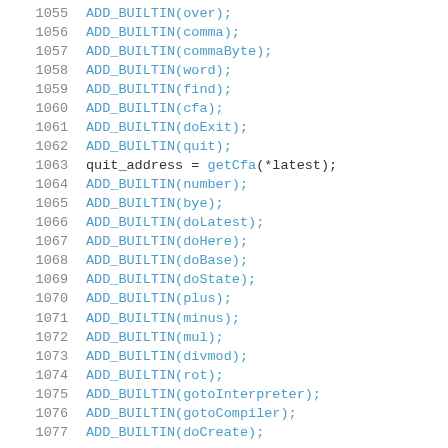1055  ADD_BUILTIN(over);
1056  ADD_BUILTIN(comma);
1057  ADD_BUILTIN(commaByte);
1058  ADD_BUILTIN(word);
1059  ADD_BUILTIN(find);
1060  ADD_BUILTIN(cfa);
1061  ADD_BUILTIN(doExit);
1062  ADD_BUILTIN(quit);
1063  quit_address = getCfa(*latest);
1064  ADD_BUILTIN(number);
1065  ADD_BUILTIN(bye);
1066  ADD_BUILTIN(doLatest);
1067  ADD_BUILTIN(doHere);
1068  ADD_BUILTIN(doBase);
1069  ADD_BUILTIN(doState);
1070  ADD_BUILTIN(plus);
1071  ADD_BUILTIN(minus);
1072  ADD_BUILTIN(mul);
1073  ADD_BUILTIN(divmod);
1074  ADD_BUILTIN(rot);
1075  ADD_BUILTIN(gotoInterpreter);
1076  ADD_BUILTIN(gotoCompiler);
1077  ADD_BUILTIN(doCreate);